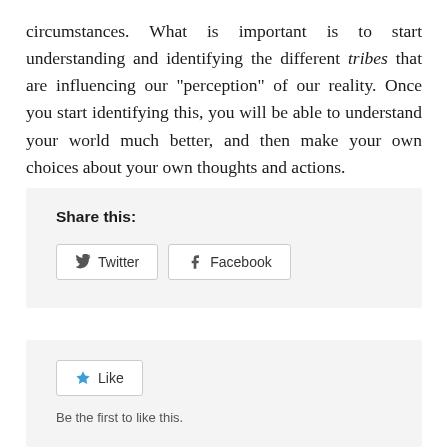circumstances. What is important is to start understanding and identifying the different tribes that are influencing our “perception” of our reality. Once you start identifying this, you will be able to understand your world much better, and then make your own choices about your own thoughts and actions.
Share this:
[Figure (other): Share buttons for Twitter and Facebook social media platforms]
[Figure (other): Like button with star icon and text 'Be the first to like this.']